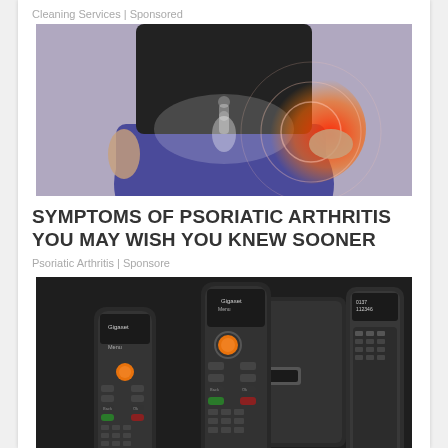Cleaning Services | Sponsored
[Figure (photo): Medical illustration of a person in blue leggings with a highlighted red pain area on the hip/pelvis region, suggesting joint pain or arthritis]
SYMPTOMS OF PSORIATIC ARTHRITIS YOU MAY WISH YOU KNEW SOONER
Psoriatic Arthritis | Sponsore
[Figure (photo): Multiple Gigaset brand cordless phones/handsets shown together, including handsets and a base unit with displays and keypads]